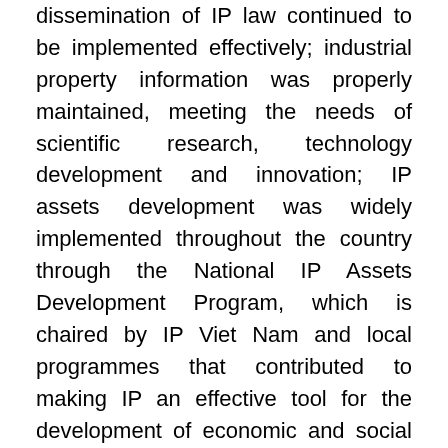dissemination of IP law continued to be implemented effectively; industrial property information was properly maintained, meeting the needs of scientific research, technology development and innovation; IP assets development was widely implemented throughout the country through the National IP Assets Development Program, which is chaired by IP Viet Nam and local programmes that contributed to making IP an effective tool for the development of economic and social sectors and localities. In addition, a series of IP activities were also implemented by IP Viet Nam to support the national creative entrepreneurship ecosystem, brand developments and promotion of key national and local specialised products in the value chains, and improvement if the innovation